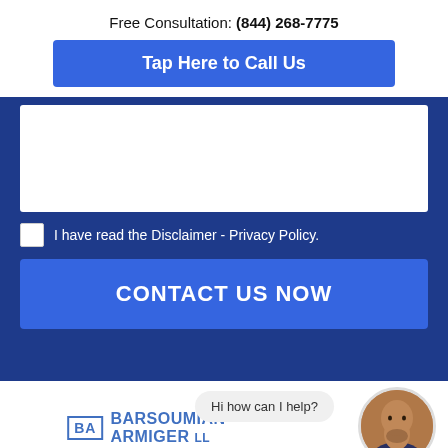Free Consultation: (844) 268-7775
Tap Here to Call Us
[Figure (screenshot): White text area / form input field inside blue background section]
I have read the Disclaimer - Privacy Policy.
CONTACT US NOW
[Figure (logo): Barsoumian Armiger law firm logo with BA monogram and website injurylawyers|barsoumianlaw.com]
Hi how can I help?
[Figure (photo): Circular avatar photo of a bald man with a beard wearing a suit with orange tie, with a green online indicator dot]